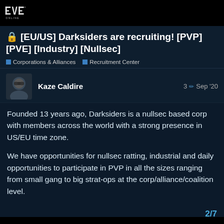EVE ONLINE
🔒 [EU/US] Darksiders are recruiting! [PVP] [PVE] [Industry] [Nullsec]
Corporations & Alliances   Recruitment Center
Kaze Caldire   3 Sep '20
Founded 13 years ago, Darksiders is a nullsec based corp with members across the world with a strong presence in US/EU time zone.
We have opportunities for nullsec ratting, industrial and daily opportunities to participate in PVP in all the sizes ranging from small gang to big strat-ops at the corp/alliance/coalition level.
2 / 7